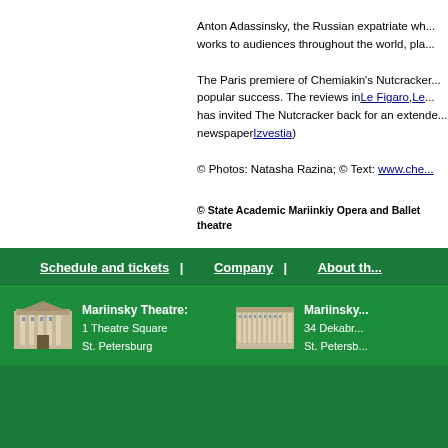Anton Adassinsky, the Russian expatriate wh... works to audiences throughout the world, pla...
The Paris premiere of Chemiakin's Nutcracker... popular success. The reviews in Le Figaro, Le... has invited The Nutcracker back for an extende... newspaper Izvestia)
© Photos: Natasha Razina; © Text: www.che...
© State Academic Mariinkiy Opera and Ballet theatre
Schedule and tickets | Company | About th...
Mariinsky Theatre: 1 Theatre Square St. Petersburg
Mariinksy... 34 Dekabr... St. Petersb...